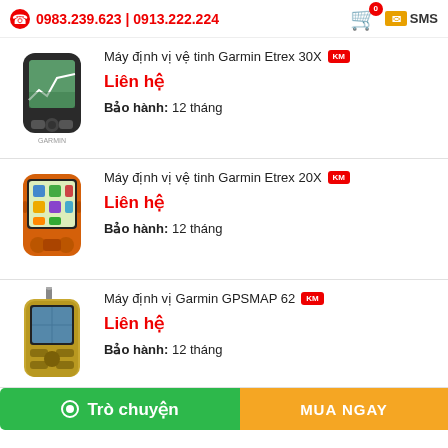0983.239.623 | 0913.222.224  SMS
Máy định vị vệ tinh Garmin Etrex 30X [KM] — Liên hệ — Bảo hành: 12 tháng
Máy định vị vệ tinh Garmin Etrex 20X [KM] — Liên hệ — Bảo hành: 12 tháng
Máy định vị Garmin GPSMAP 62 [KM] — Liên hệ — Bảo hành: 12 tháng
Trò chuyện  |  MUA NGAY
armin GPSMAP62...